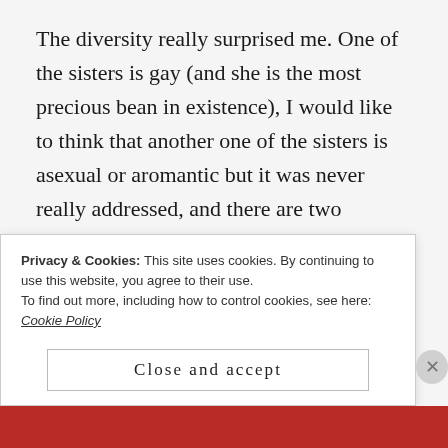The diversity really surprised me. One of the sisters is gay (and she is the most precious bean in existence), I would like to think that another one of the sisters is asexual or aromantic but it was never really addressed, and there are two bisexual POC characters!! One Latina and the other Korean, which I loved to see.
Although I loved most elements of this book, a few things bothered me. Firstly, one of the sisters ended up cheating on her boyfriend and just... I know that she felt bad for doing it but she still ended up being [truncated]
Privacy & Cookies: This site uses cookies. By continuing to use this website, you agree to their use. To find out more, including how to control cookies, see here: Cookie Policy
Close and accept